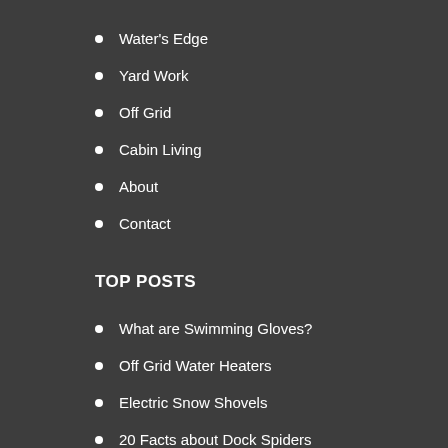Water's Edge
Yard Work
Off Grid
Cabin Living
About
Contact
TOP POSTS
What are Swimming Gloves?
Off Grid Water Heaters
Electric Snow Shovels
20 Facts about Dock Spiders